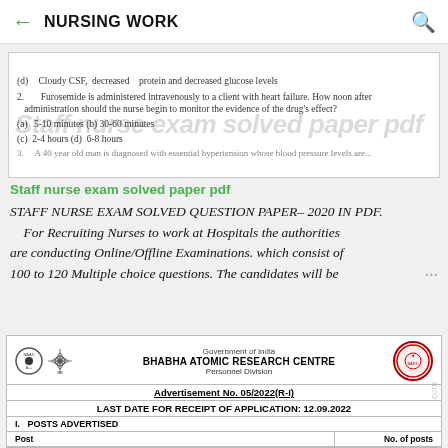NURSING WORK
[Figure (screenshot): Scanned exam paper snippet showing multiple choice questions about nursing/pharmacology with a watermark 'Staff nurse exam solved paper pdf']
Staff nurse exam solved paper pdf
STAFF NURSE EXAM SOLVED QUESTION PAPER- 2020 IN PDF. For Recruiting Nurses to work at Hospitals the authorities are conducting Online/Offline Examinations. which consist of 100 to 120 Multiple choice questions. The candidates will be ...
[Figure (screenshot): Bottom portion shows a Government of India BHABHA ATOMIC RESEARCH CENTRE Personnel Division advertisement card with logos, Advertisement No. 05/2022(R-I), Last Date for receipt of application 12.09.2022, and Posts Advertised table header with Post and No. of posts columns.]